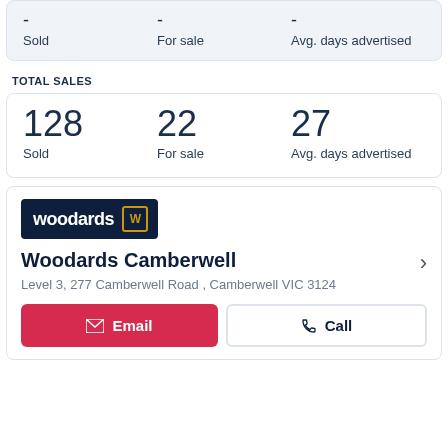- Sold   - For sale   - Avg. days advertised
TOTAL SALES
128 Sold   22 For sale   27 Avg. days advertised
[Figure (logo): Woodards real estate agency logo — dark navy background with 'woodards' text in white and a gold W icon]
Woodards Camberwell
Level 3, 277 Camberwell Road , Camberwell VIC 3124
Email   Call